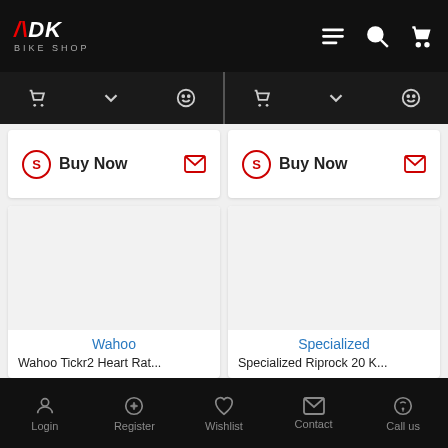[Figure (logo): ADK Bike Shop logo - white stylized letters on black background with red accent]
[Figure (screenshot): Partial navigation sub-bar with cart, chevron, and profile icons on dark background]
Buy Now
Buy Now
Wahoo
Wahoo Tickr2 Heart Rat...
Specialized
Specialized Riprock 20 K...
Login   Register   Wishlist   Contact   Call us